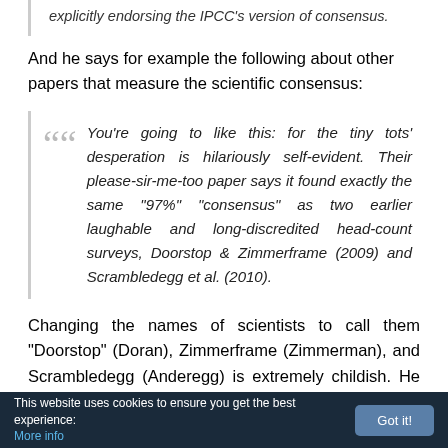explicitly endorsing the IPCC's version of consensus.
And he says for example the following about other papers that measure the scientific consensus:
You’re going to like this: for the tiny tots’ desperation is hilariously self-evident. Their please-sir-me-too paper says it found exactly the same “97%” “consensus” as two earlier laughable and long-discredited head-count surveys, Doorstop & Zimmerframe (2009) and Scrambledegg et al. (2010).
Changing the names of scientists to call them “Doorstop” (Doran), Zimmerframe (Zimmerman), and Scrambledegg (Anderegg) is extremely childish. He calls everyone that
This website uses cookies to ensure you get the best experience: More info